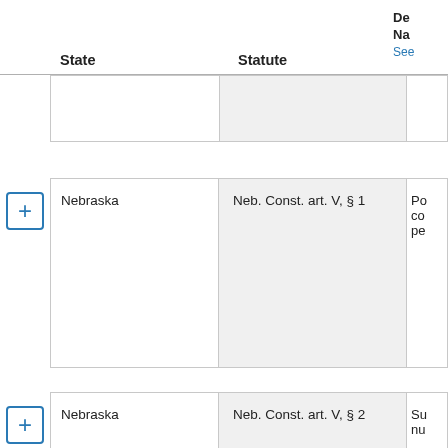| State | Statute | De Na (See...) |
| --- | --- | --- |
| Nebraska | Neb. Const. art. V, § 1 | Po co pe |
| Nebraska | Neb. Const. art. V, § 2 | Su nu |